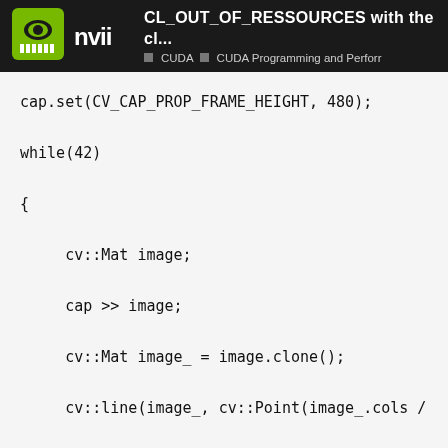CL_OUT_OF_RESSOURCES with the cl... | CUDA | CUDA Programming and Perforr
cap.set(CV_CAP_PROP_FRAME_HEIGHT, 480);

while(42)

{

     cv::Mat image;

     cap >> image;

     cv::Mat image_ = image.clone();

     cv::line(image_, cv::Point(image_.cols /

                  cv::Point(image_.cols / 2, imag

                  cv::Scalar(255, 255, 255));